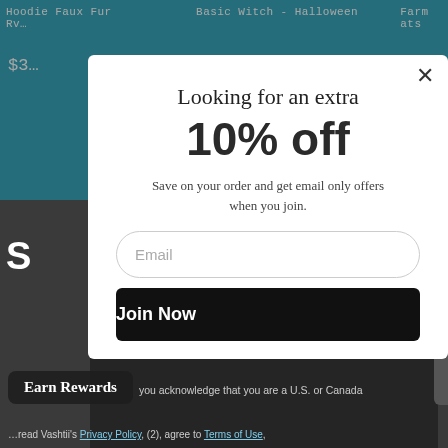Hoodie Faux Fur Rv... | Basic Witch - Halloween | Farm ...ats
$3...
Looking for an extra 10% off
Save on your order and get email only offers when you join.
Email
Join Now
Earn Rewards
you acknowledge that you are a U.S. or Canada ...read Vashtii's Privacy Policy, (2), agree to Terms of Use,